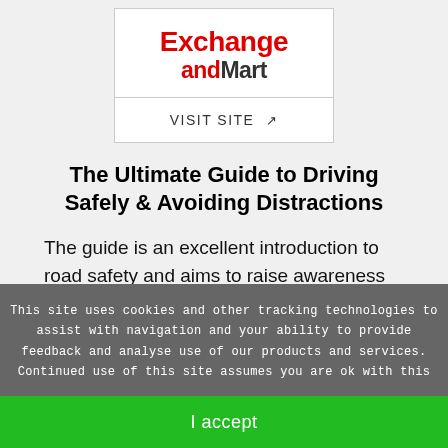[Figure (logo): Exchange and Mart logo in a white bordered box. 'Exchange' in bold red, 'and' in red and 'Mart' in dark gray/black bold text.]
VISIT SITE ↗
The Ultimate Guide to Driving Safely & Avoiding Distractions
The guide is an excellent introduction to road safety and aims to raise awareness on the risks of accidents and casualties caused by distracted
This site uses cookies and other tracking technologies to assist with navigation and your ability to provide feedback and analyse use of our products and services. Continued use of this site assumes you are ok with this
I accept